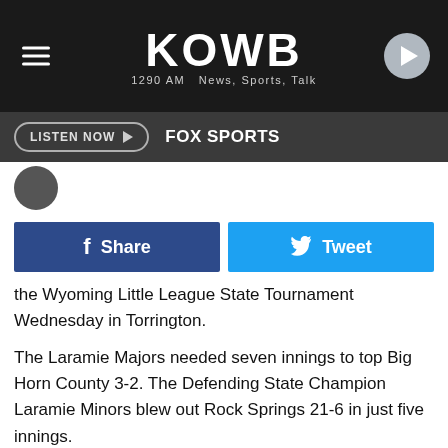KOWB 1290 AM News, Sports, Talk
LISTEN NOW  FOX SPORTS
the Wyoming Little League State Tournament Wednesday in Torrington.
The Laramie Majors needed seven innings to top Big Horn County 3-2. The Defending State Champion Laramie Minors blew out Rock Springs 21-6 in just five innings.
Max Alexander's go-ahead RBI-double in the top of the seventh inning proved to be the game-winner, as the Majors All-Stars survived Big Horn County in a tight one.